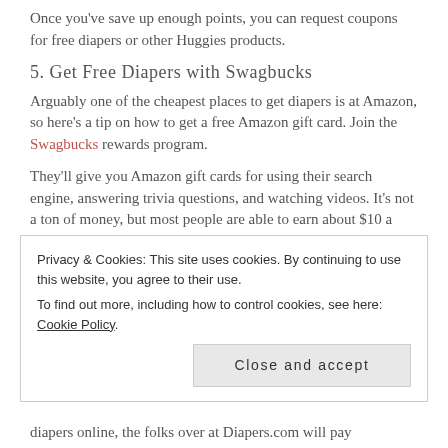Once you've save up enough points, you can request coupons for free diapers or other Huggies products.
5. Get Free Diapers with Swagbucks
Arguably one of the cheapest places to get diapers is at Amazon, so here's a tip on how to get a free Amazon gift card. Join the Swagbucks rewards program.
They'll give you Amazon gift cards for using their search engine, answering trivia questions, and watching videos. It's not a ton of money, but most people are able to earn about $10 a month in free Amazon gift cards.
6. Use Cloth Diapers
Privacy & Cookies: This site uses cookies. By continuing to use this website, you agree to their use. To find out more, including how to control cookies, see here: Cookie Policy
diapers online, the folks over at Diapers.com will pay